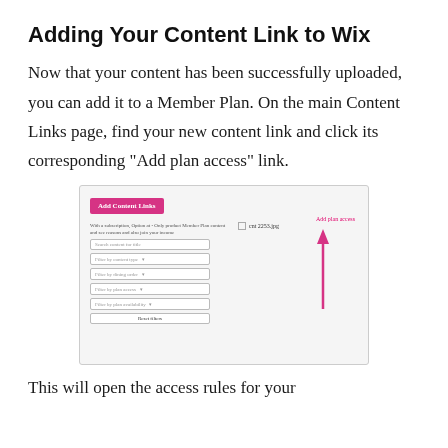Adding Your Content Link to Wix
Now that your content has been successfully uploaded, you can add it to a Member Plan. On the main Content Links page, find your new content link and click its corresponding "Add plan access" link.
[Figure (screenshot): Screenshot of the Wix Add Content Links interface showing a pink 'Add Content Links' button on the left, filter dropdowns, a Reset filters button, and on the right a 'Select all' button, a content entry row with a checkbox, and an 'Add plan access' link with a pink upward arrow pointing to it.]
This will open the access rules for your